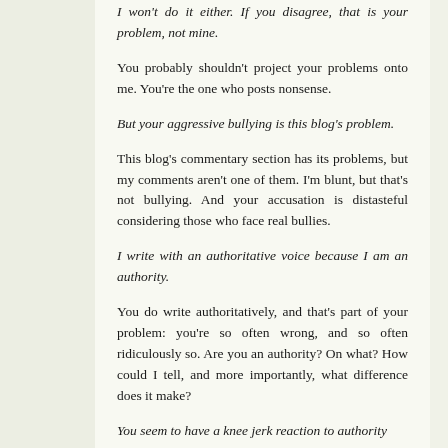I won't do it either. If you disagree, that is your problem, not mine.
You probably shouldn't project your problems onto me. You're the one who posts nonsense.
But your aggressive bullying is this blog's problem.
This blog's commentary section has its problems, but my comments aren't one of them. I'm blunt, but that's not bullying. And your accusation is distasteful considering those who face real bullies.
I write with an authoritative voice because I am an authority.
You do write authoritatively, and that's part of your problem: you're so often wrong, and so often ridiculously so. Are you an authority? On what? How could I tell, and more importantly, what difference does it make?
You seem to have a knee jerk reaction to authority